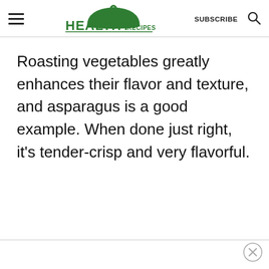HEALTHY RECIPES | SUBSCRIBE
Roasting vegetables greatly enhances their flavor and texture, and asparagus is a good example. When done just right, it's tender-crisp and very flavorful.